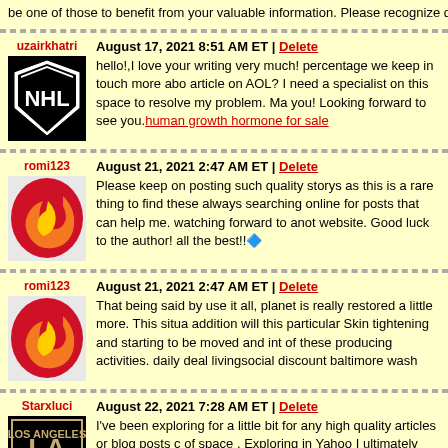be one of those to benefit from your valuable information. Please recognize deal I appreciate it. steroids for sale
uzairkhatri — August 17, 2021 8:51 AM ET | Delete — hello!,I love your writing very much! percentage we keep in touch more about your article on AOL? I need a specialist on this space to resolve my problem. May be that's you! Looking forward to see you. human growth hormone for sale
romi123 — August 21, 2021 2:47 AM ET | Delete — Please keep on posting such quality storys as this is a rare thing to find these days. I am always searching online for posts that can help me. watching forward to another great website. Good luck to the author! all the best!!
romi123 — August 21, 2021 2:47 AM ET | Delete — That being said by use it all, planet is really restored a little more. This situation in addition will this particular Skin tightening and starting to be moved and into every one of these producing activities. daily deal livingsocial discount baltimore wash
Starxluci — August 22, 2021 7:28 AM ET | Delete — I've been exploring for a little bit for any high quality articles or blog posts on this kind of space . Exploring in Yahoo I ultimately stumbled upon this web site. Reading this info So i'm glad to show that I have an incredibly excellent uncanny feeling